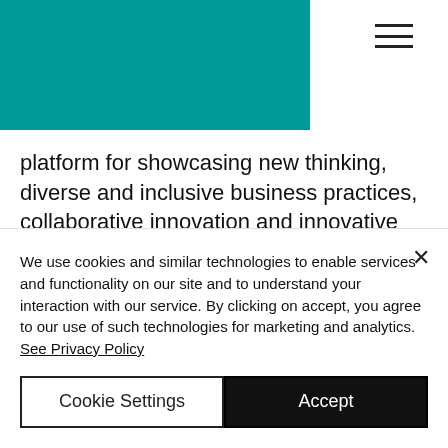[Figure (other): Teal/green header background bar with hamburger menu icon]
platform for showcasing new thinking, diverse and inclusive business practices, collaborative innovation and innovative leaders from under-represented communities, Art of Possible is looking for dynamic speakers from Scottish and international small businesses and other experts who are leading purposefully
We use cookies and similar technologies to enable services and functionality on our site and to understand your interaction with our service. By clicking on accept, you agree to our use of such technologies for marketing and analytics. See Privacy Policy
Cookie Settings
Accept